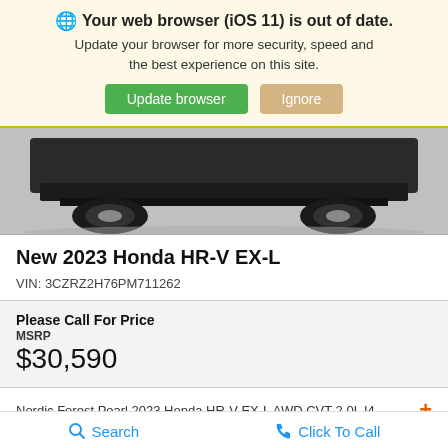🌐 Your web browser (iOS 11) is out of date. Update your browser for more security, speed and the best experience on this site. Update browser | Ignore
[Figure (photo): Bottom portion of a dark-colored Honda HR-V SUV showing the undercarriage, rear bumper, and tires against a light gray background]
New 2023 Honda HR-V EX-L
VIN: 3CZRZ2H76PM711262
Please Call For Price
MSRP
$30,590
Nordic Forest Pearl 2023 Honda HR-V EX-L AWD CVT 2.0L I4
Search   Click To Call